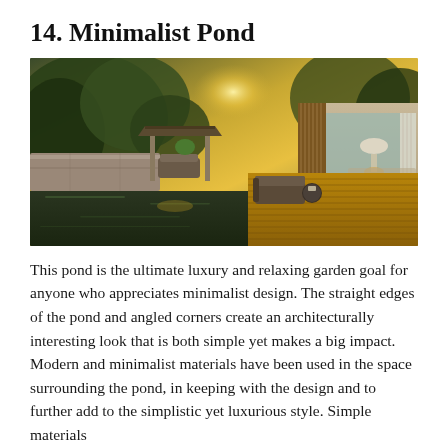14. Minimalist Pond
[Figure (photo): A minimalist outdoor pond flanked by a wooden deck on the right side, with a pavilion and lush greenery on the left. Sunlight glows in the background. A modern house with large glass doors and wooden slat elements is visible on the right, with outdoor furniture including a sofa, side table and lamp.]
This pond is the ultimate luxury and relaxing garden goal for anyone who appreciates minimalist design. The straight edges of the pond and angled corners create an architecturally interesting look that is both simple yet makes a big impact. Modern and minimalist materials have been used in the space surrounding the pond, in keeping with the design and to further add to the simplistic yet luxurious style. Simple materials